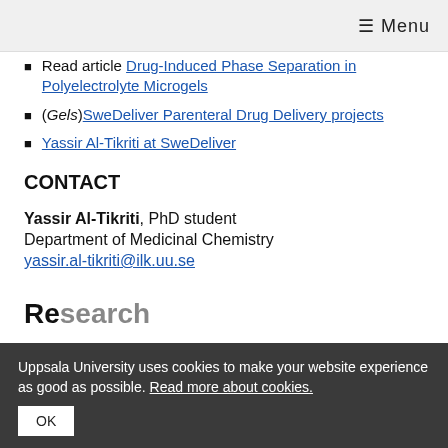☰ Menu
Read article Drug-Induced Phase Separation in Polyelectrolyte Microgels
(Gels)SweDeliver Parenteral Drug Delivery projects
Yassir Al-Tikriti at SweDeliver
CONTACT
Yassir Al-Tikriti, PhD student
Department of Medicinal Chemistry
yassir.al-tikriti@ilk.uu.se
Research
Uppsala University uses cookies to make your website experience as good as possible. Read more about cookies.